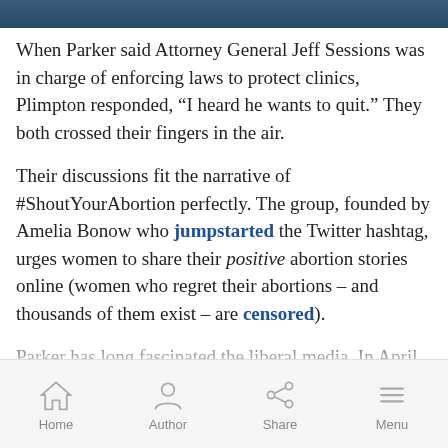[Figure (photo): Top image strip showing partial photo content]
When Parker said Attorney General Jeff Sessions was in charge of enforcing laws to protect clinics, Plimpton responded, “I heard he wants to quit.” They both crossed their fingers in the air.
Their discussions fit the narrative of #ShoutYourAbortion perfectly. The group, founded by Amelia Bonow who jumpstarted the Twitter hashtag, urges women to share their positive abortion stories online (women who regret their abortions – and thousands of them exist – are censored).
Parker has long fascinated the liberal media. In April, he appeared on The Daily Show to stress he’s “pro-life” for the...
Home  Author  Share  Menu